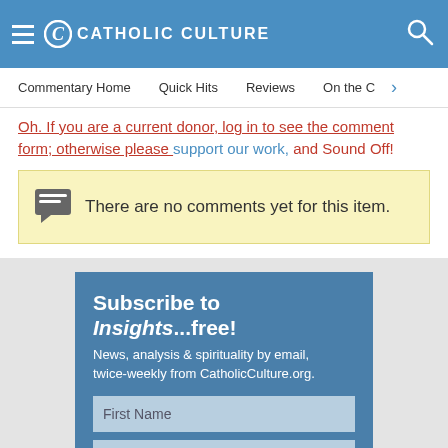CATHOLIC CULTURE
Commentary Home   Quick Hits   Reviews   On the C
Oh. If you are a current donor, log in to see the comment form; otherwise please support our work, and Sound Off!
There are no comments yet for this item.
Subscribe to Insights...free!
News, analysis & spirituality by email, twice-weekly from CatholicCulture.org.
First Name
Last Name